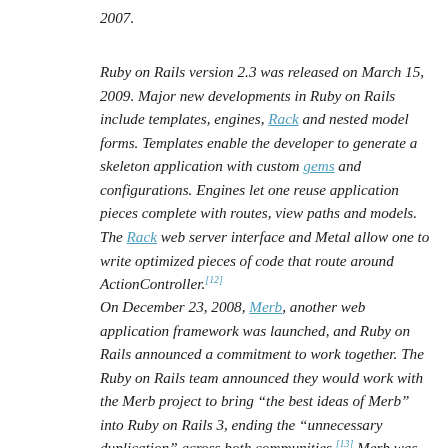2007.
Ruby on Rails version 2.3 was released on March 15, 2009. Major new developments in Ruby on Rails include templates, engines, Rack and nested model forms. Templates enable the developer to generate a skeleton application with custom gems and configurations. Engines let one reuse application pieces complete with routes, view paths and models. The Rack web server interface and Metal allow one to write optimized pieces of code that route around ActionController.[12]
On December 23, 2008, Merb, another web application framework was launched, and Ruby on Rails announced a commitment to work together. The Ruby on Rails team announced they would work with the Merb project to bring “the best ideas of Merb” into Ruby on Rails 3, ending the “unningecessary duplication” across both communities.[13] Merb was merged with Rails as part of